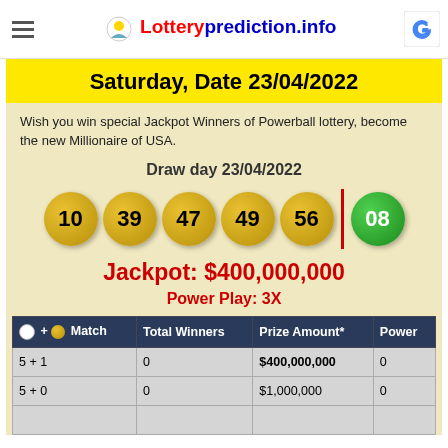Lotteryprediction.info
Saturday, Date 23/04/2022
Wish you win special Jackpot Winners of Powerball lottery, become the new Millionaire of USA.
Draw day 23/04/2022
[Figure (infographic): Powerball lottery numbers: 10, 39, 47, 49, 56 (gold balls) and 08 (green Powerball), with red vertical separator between main balls and Powerball]
Jackpot: $400,000,000
Power Play: 3X
| ⚪ + 🟡 Match | Total Winners | Prize Amount* | Power |
| --- | --- | --- | --- |
| 5 + 1 | 0 | $400,000,000 | 0 |
| 5 + 0 | 0 | $1,000,000 | 0 |